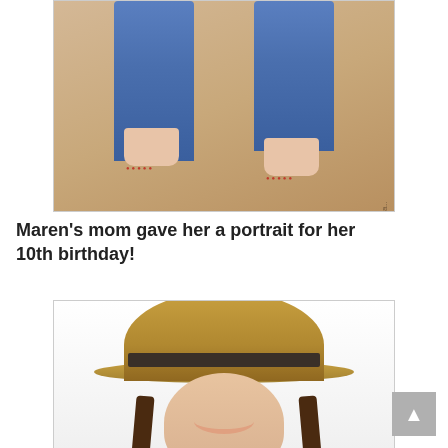[Figure (photo): Photo showing bare feet of two people standing on a wooden floor, both wearing jeans, with red toenails visible. Watermark reads 'peggy eileen, EugenePhotogra...' rotated vertically on right side.]
Maren's mom gave her a portrait for her 10th birthday!
[Figure (photo): Portrait photo of a smiling girl wearing a straw cowboy hat with dark band and dark braided pigtails, resting her chin on her hand, wearing a dark polka dot top, photographed against a white background.]